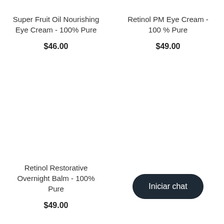Super Fruit Oil Nourishing Eye Cream - 100% Pure
$46.00
Retinol PM Eye Cream - 100 % Pure
$49.00
Retinol Restorative Overnight Balm - 100% Pure
$49.00
Iniciar chat